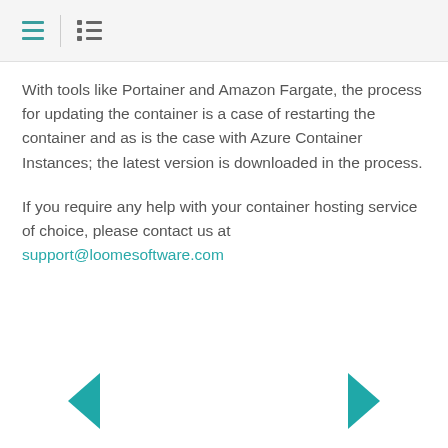[navigation icons: hamburger menu and list view]
With tools like Portainer and Amazon Fargate, the process for updating the container is a case of restarting the container and as is the case with Azure Container Instances; the latest version is downloaded in the process.
If you require any help with your container hosting service of choice, please contact us at support@loomesoftware.com